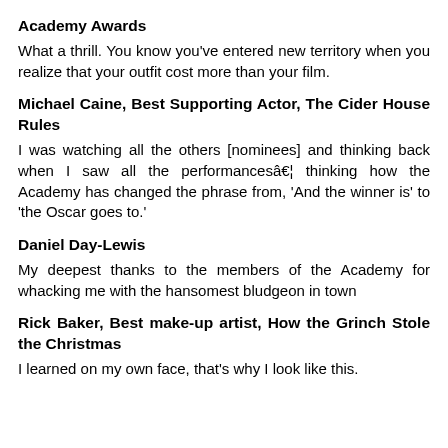Academy Awards
What a thrill. You know you've entered new territory when you realize that your outfit cost more than your film.
Michael Caine, Best Supporting Actor, The Cider House Rules
I was watching all the others [nominees] and thinking back when I saw all the performancesâ€¦ thinking how the Academy has changed the phrase from, 'And the winner is' to 'the Oscar goes to.'
Daniel Day-Lewis
My deepest thanks to the members of the Academy for whacking me with the hansomest bludgeon in town
Rick Baker, Best make-up artist, How the Grinch Stole the Christmas
I learned on my own face, that's why I look like this.